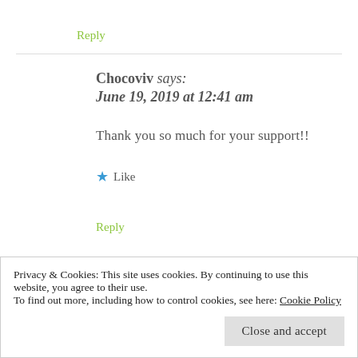Reply
Chocoviv says:
June 19, 2019 at 12:41 am
Thank you so much for your support!!
★ Like
Reply
Privacy & Cookies: This site uses cookies. By continuing to use this website, you agree to their use.
To find out more, including how to control cookies, see here: Cookie Policy
Close and accept